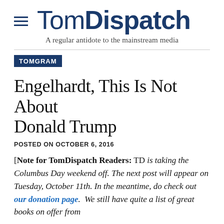TomDispatch
A regular antidote to the mainstream media
TOMGRAM
Engelhardt, This Is Not About Donald Trump
POSTED ON OCTOBER 6, 2016
[Note for TomDispatch Readers: TD is taking the Columbus Day weekend off. The next post will appear on Tuesday, October 11th. In the meantime, do check out our donation page.  We still have quite a list of great books on offer from